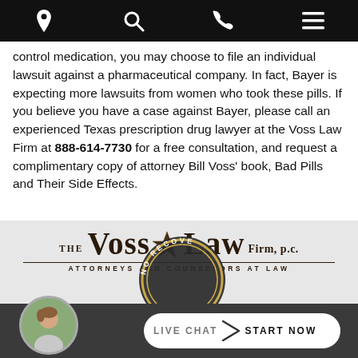[Navigation bar with location, search, phone, and menu icons]
control medication, you may choose to file an individual lawsuit against a pharmaceutical company. In fact, Bayer is expecting more lawsuits from women who took these pills. If you believe you have a case against Bayer, please call an experienced Texas prescription drug lawyer at the Voss Law Firm at 888-614-7730 for a free consultation, and request a complimentary copy of attorney Bill Voss' book, Bad Pills and Their Side Effects.
[Figure (logo): The Voss Law Firm, P.C. logo with star emblem and tagline 'Attorneys and Counselors at Law']
[Figure (infographic): Partially visible circular badge with text 'NO RECOV...' (No Recovery)]
[Figure (photo): Circular avatar photo of a smiling woman]
LIVE CHAT > START NOW